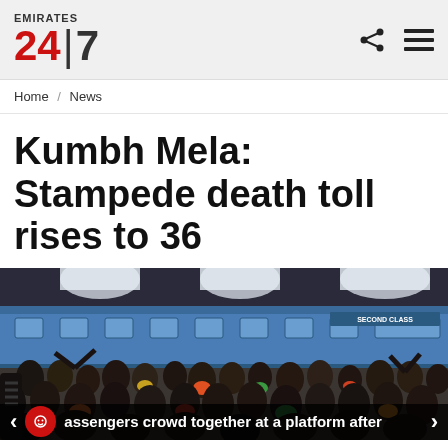EMIRATES 24|7
Home / News
Kumbh Mela: Stampede death toll rises to 36
[Figure (photo): Crowd of passengers packed together at a railway platform next to a blue Second Class train car; indoor station with overhead lighting]
assengers crowd together at a platform after